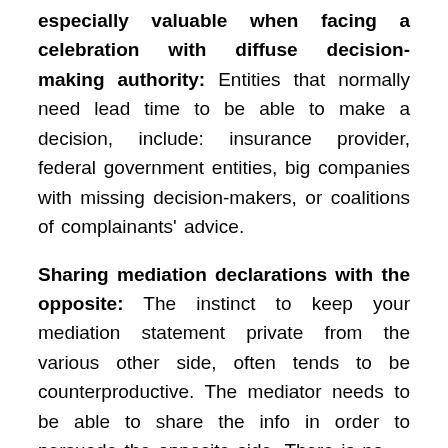especially valuable when facing a celebration with diffuse decision-making authority: Entities that normally need lead time to be able to make a decision, include: insurance provider, federal government entities, big companies with missing decision-makers, or coalitions of complainants' advice.
Sharing mediation declarations with the opposite: The instinct to keep your mediation statement private from the various other side, often tends to be counterproductive. The mediator needs to be able to share the info in order to persuade the opposite side. There is no